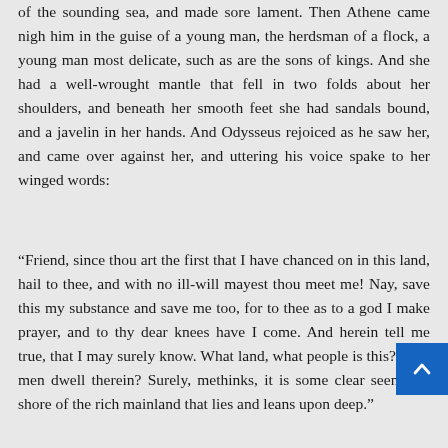of the sounding sea, and made sore lament. Then Athene came nigh him in the guise of a young man, the herdsman of a flock, a young man most delicate, such as are the sons of kings. And she had a well-wrought mantle that fell in two folds about her shoulders, and beneath her smooth feet she had sandals bound, and a javelin in her hands. And Odysseus rejoiced as he saw her, and came over against her, and uttering his voice spake to her winged words:
“Friend, since thou art the first that I have chanced on in this land, hail to thee, and with no ill-will mayest thou meet me! Nay, save this my substance and save me too, for to thee as to a god I make prayer, and to thy dear knees have I come. And herein tell me true, that I may surely know. What land, what people is this? what men dwell therein? Surely, methinks, it is some clear seen isle, shore of the rich mainland that lies and leans upon deep.”